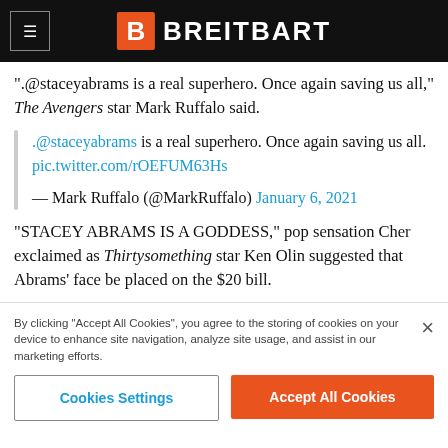BREITBART
“.@staceyabrams is a real superhero. Once again saving us all,” The Avengers star Mark Ruffalo said.
.@staceyabrams is a real superhero. Once again saving us all. pic.twitter.com/rOEFUM63Hs
— Mark Ruffalo (@MarkRuffalo) January 6, 2021
“STACEY ABRAMS IS A GODDESS,” pop sensation Cher exclaimed as Thirtysomething star Ken Olin suggested that Abrams’ face be placed on the $20 bill.
By clicking “Accept All Cookies”, you agree to the storing of cookies on your device to enhance site navigation, analyze site usage, and assist in our marketing efforts.